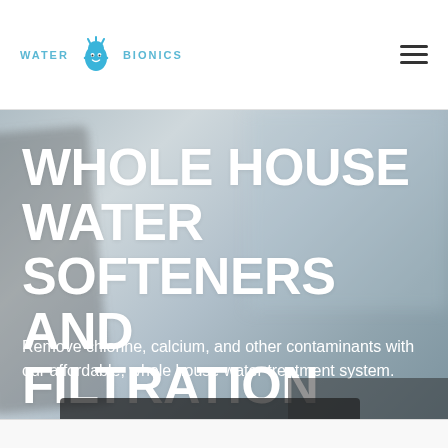Water Bionics — navigation bar with logo and hamburger menu
WHOLE HOUSE WATER SOFTENERS AND FILTRATION SYSTEMS
Remove chlorine, calcium, and other contaminants with our affordable, whole house water treatment system.
[Figure (photo): Blurred background photo of plumbing/water treatment equipment with dark appliance visible at bottom]